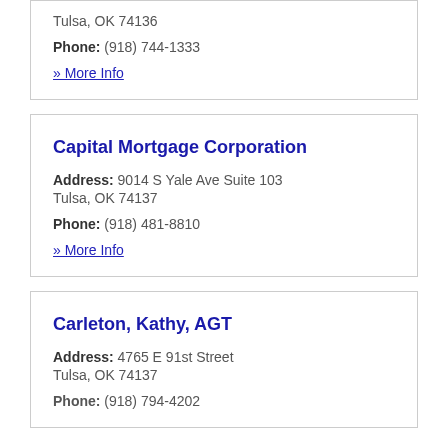Tulsa, OK 74136
Phone: (918) 744-1333
» More Info
Capital Mortgage Corporation
Address: 9014 S Yale Ave Suite 103 Tulsa, OK 74137
Phone: (918) 481-8810
» More Info
Carleton, Kathy, AGT
Address: 4765 E 91st Street Tulsa, OK 74137
Phone: (918) 794-4202